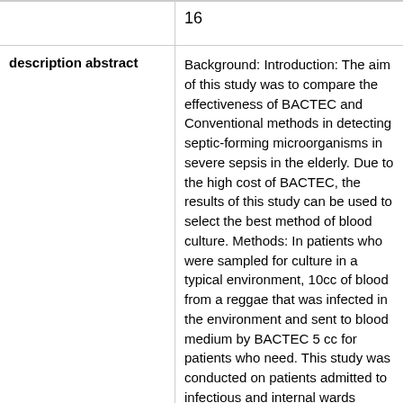16
description abstract
Background: Introduction: The aim of this study was to compare the effectiveness of BACTEC and Conventional methods in detecting septic-forming microorganisms in severe sepsis in the elderly. Due to the high cost of BACTEC, the results of this study can be used to select the best method of blood culture. Methods: In patients who were sampled for culture in a typical environment, 10cc of blood from a reggae that was infected in the environment and sent to blood medium by BACTEC 5 cc for patients who need. This study was conducted on patients admitted to infectious and internal wards (1397). According to the case number, 40 patients with BACTEC blood culture were selected randomly and 40 patients with conventional blood culture were extracted from the case based on questionnaire form and entered in the questionnaire. The mean age was 75.53 + 8.16